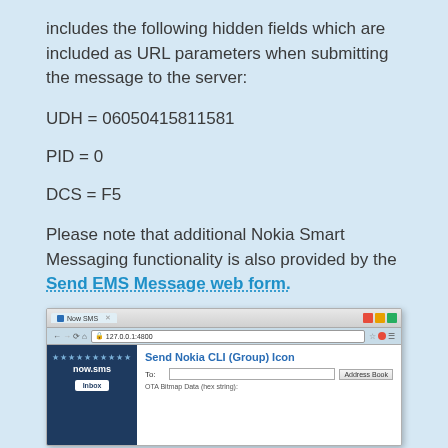includes the following hidden fields which are included as URL parameters when submitting the message to the server:
UDH = 06050415811581
PID = 0
DCS = F5
Please note that additional Nokia Smart Messaging functionality is also provided by the Send EMS Message web form.
Send Nokia CLI (Group) Icon
[Figure (screenshot): Browser screenshot showing the Now SMS web interface with a 'Send Nokia CLI (Group) Icon' form, including To: field and Address Book button, and a sidebar with now.sms logo and Inbox button.]